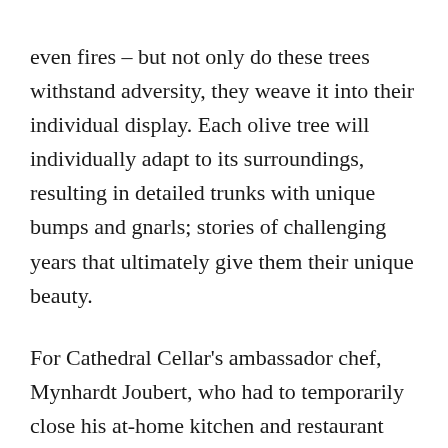even fires – but not only do these trees withstand adversity, they weave it into their individual display. Each olive tree will individually adapt to its surroundings, resulting in detailed trunks with unique bumps and gnarls; stories of challenging years that ultimately give them their unique beauty.
For Cathedral Cellar's ambassador chef, Mynhardt Joubert, who had to temporarily close his at-home kitchen and restaurant during lockdown, the story of the olive tree resonates deeply, and he was inspired to develop recipes to match to the Cathedral Collar Shiraz and Cathedral Collar Chardonnay